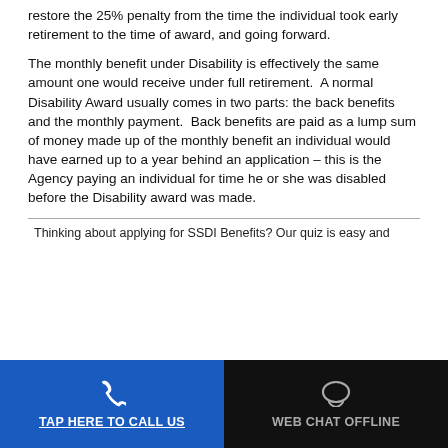restore the 25% penalty from the time the individual took early retirement to the time of award, and going forward.
The monthly benefit under Disability is effectively the same amount one would receive under full retirement.  A normal Disability Award usually comes in two parts: the back benefits and the monthly payment.  Back benefits are paid as a lump sum of money made up of the monthly benefit an individual would have earned up to a year behind an application – this is the Agency paying an individual for time he or she was disabled before the Disability award was made.
Thinking about applying for SSDI Benefits? Our quiz is easy and